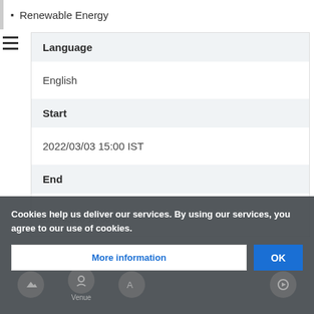Renewable Energy
Language
English
Start
2022/03/03 15:00 IST
End
Cookies help us deliver our services. By using our services, you agree to our use of cookies.